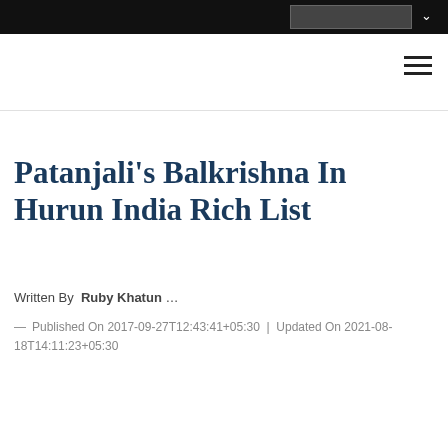Patanjali's Balkrishna In Hurun India Rich List
Written By Ruby Khatun …
— Published On 2017-09-27T12:43:41+05:30 | Updated On 2021-08-18T14:11:23+05:30